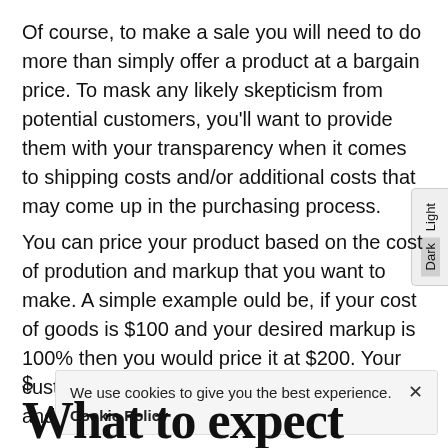Of course, to make a sale you will need to do more than simply offer a product at a bargain price. To mask any likely skepticism from potential customers, you'll want to provide them with your transparency when it comes to shipping costs and/or additional costs that may come up in the purchasing process.
You can price your product based on the cost of production and markup that you want to make. A simple example would be, if your cost of goods is $100 and your desired markup is 100% then you would price it at $200. Your customers will pay $100 for what you made and you will get an additional $
We use cookies to give you the best experience. Cookie Policy
What to expect after